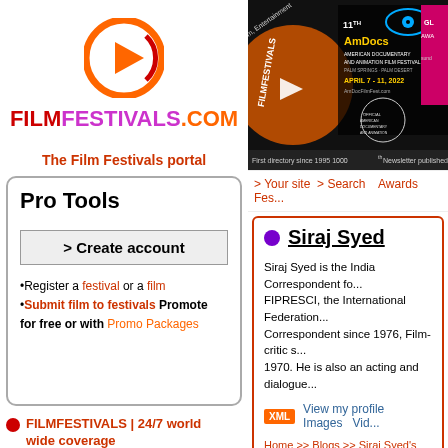[Figure (logo): FilmFestivals.com circular play-button logo in orange and red]
FILMFESTIVALS.COM
The Film Festivals portal
[Figure (screenshot): 11th AmDocs American Documentary and Animation Film Festival banner, April 7-11 2022, Palm Springs. First directory since 1995, 1000th Newsletter published.]
> Your site  > Search    Awards  Fes...
Pro Tools
> Create account
•Register a festival or a film
•Submit film to festivals Promote for free or with Promo Packages
FILMFESTIVALS | 24/7 world wide coverage
Welcome !
Enjoy the best of both worlds: Film & Festival News, exploring the best...
Siraj Syed
Siraj Syed is the India Correspondent fo... FIPRESCI, the International Federation... Correspondent since 1976, Film-critic s... 1970. He is also an acting and dialogue...
XML  View my profile   Images   Vid...
Home >> Blogs >> Siraj Syed's blog >> I... Transmitted Death)
It Follows D...